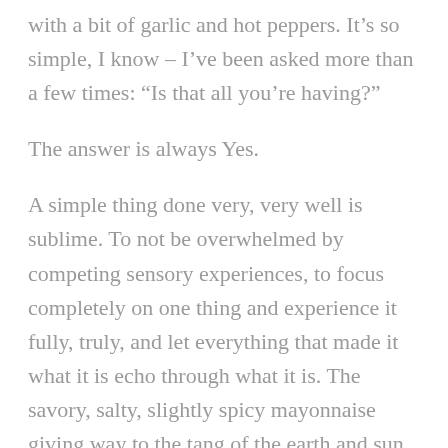with a bit of garlic and hot peppers. It’s so simple, I know – I’ve been asked more than a few times: “Is that all you’re having?”
The answer is always Yes.
A simple thing done very, very well is sublime. To not be overwhelmed by competing sensory experiences, to focus completely on one thing and experience it fully, truly, and let everything that made it what it is echo through what it is. The savory, salty, slightly spicy mayonnaise giving way to the tang of the earth and sun and rain and warmth of spring and summer coming through the tomatoes. If you let it, it will have you closing your eyes just to sink deeper into the